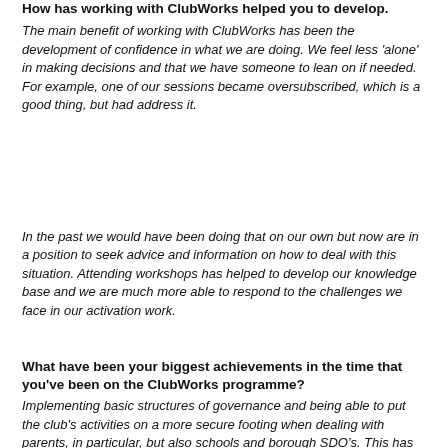How has working with ClubWorks helped you to develop.
The main benefit of working with ClubWorks has been the development of confidence in what we are doing. We feel less 'alone' in making decisions and that we have someone to lean on if needed. For example, one of our sessions became oversubscribed, which is a good thing, but had address it.
In the past we would have been doing that on our own but now are in a position to seek advice and information on how to deal with this situation. Attending workshops has helped to develop our knowledge base and we are much more able to respond to the challenges we face in our activation work.
What have been your biggest achievements in the time that you've been on the ClubWorks programme?
Implementing basic structures of governance and being able to put the club's activities on a more secure footing when dealing with parents, in particular, but also schools and borough SDO's. This has enabled us to take an under 15